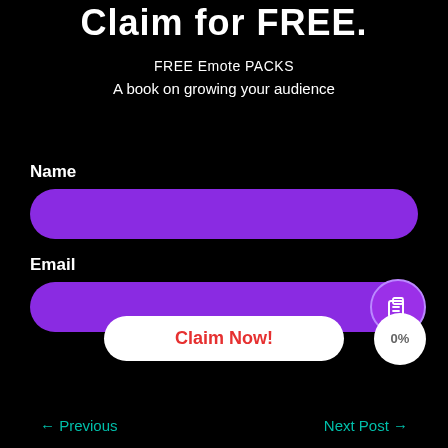Claim for FREE.
FREE Emote PACKS
A book on growing your audience
Name
[Figure (other): Purple rounded input bar for Name field]
Email
[Figure (other): Purple rounded input bar for Email field with clipboard icon button on right]
[Figure (other): White rounded Claim Now! button with red text, and white circle showing 0% on right]
← Previous   Next Post →